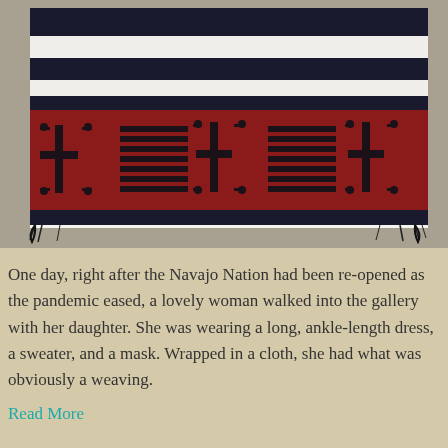[Figure (photo): A Navajo textile/weaving laid flat on a grey surface. The textile features alternating black and white horizontal stripes at the top, followed by a wide red band decorated with black cross and geometric patterns (I-shapes and horizontal bar motifs). Fringe/tassels visible at bottom corners.]
One day, right after the Navajo Nation had been re-opened as the pandemic eased, a lovely woman walked into the gallery with her daughter. She was wearing a long, ankle-length dress, a sweater, and a mask. Wrapped in a cloth, she had what was obviously a weaving.
Read More